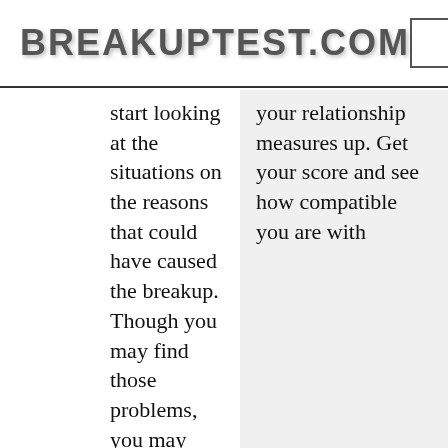BREAKUPTEST.COM
start looking at the situations on the reasons that could have caused the breakup. Though you may find those problems, you may
your relationship measures up. Get your score and see how compatible you are with